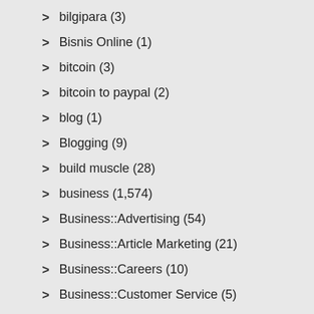bilgipara (3)
Bisnis Online (1)
bitcoin (3)
bitcoin to paypal (2)
blog (1)
Blogging (9)
build muscle (28)
business (1,574)
Business::Advertising (54)
Business::Article Marketing (21)
Business::Careers (10)
Business::Customer Service (5)
Business::Entrepreneurs (2)